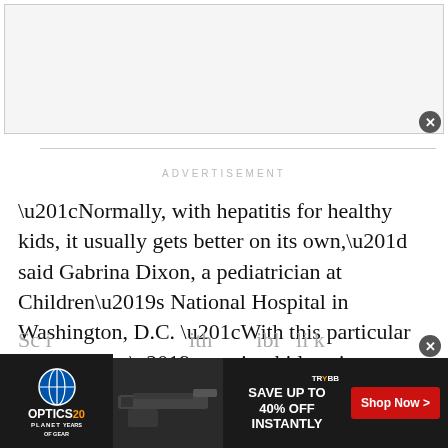[Figure (other): Top advertisement banner (empty/white box)]
ADVERTISEMENT
“Normally, with hepatitis for healthy kids, it usually gets better on its own,” said Gabrina Dixon, a pediatrician at Children’s National Hospital in Washington, D.C. “With this particular hepatitis, we’re seeing kids going to liver failure and get sicker than we normally see. That is the most concerning thing.”
[Figure (other): Bottom advertisement banner for Optics Planet and TryBB - Save up to 40% off instantly, Shop Now button]